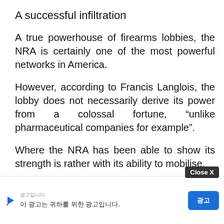A successful infiltration
A true powerhouse of firearms lobbies, the NRA is certainly one of the most powerful networks in America.
However, according to Francis Langlois, the lobby does not necessarily derive its power from a colossal fortune, “unlike pharmaceutical companies for example”.
Where the NRA has been able to show its strength is rather with its ability to mobilise.
“From the 1970s and 1980s, it managed to infiltrate American politic…